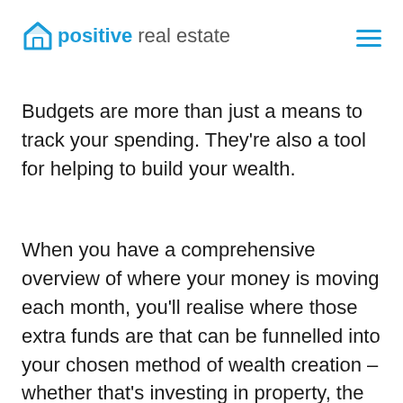positive real estate
Budgets are more than just a means to track your spending. They’re also a tool for helping to build your wealth.
When you have a comprehensive overview of where your money is moving each month, you’ll realise where those extra funds are that can be funnelled into your chosen method of wealth creation – whether that’s investing in property, the share market or a side hustle.